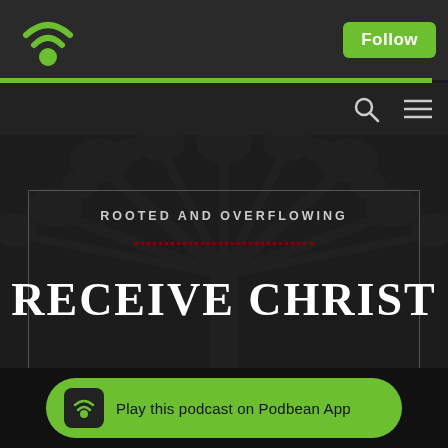[Figure (screenshot): Podbean podcast app screenshot showing the top navigation bar with WiFi/podcast logo and Follow button]
ROOTED AND OVERFLOWING
RECEIVE CHRIST
Play this podcast on Podbean App